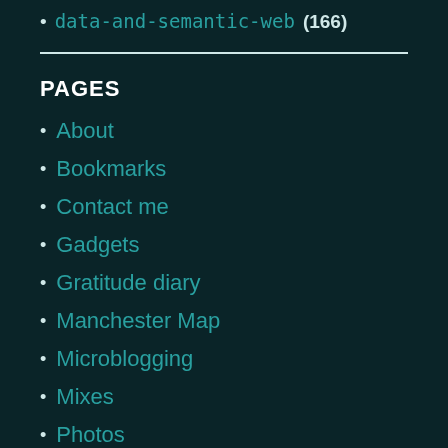data-and-semantic-web (166)
PAGES
About
Bookmarks
Contact me
Gadgets
Gratitude diary
Manchester Map
Microblogging
Mixes
Photos
Professional networking